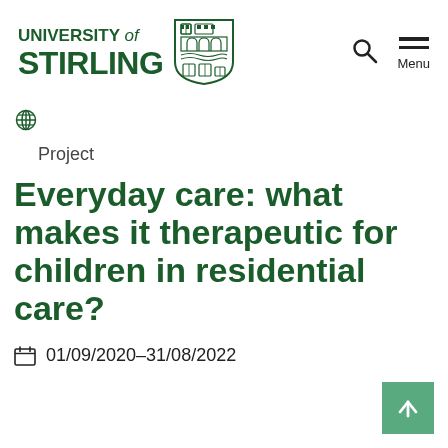UNIVERSITY of STIRLING
[Figure (logo): University of Stirling shield/crest logo in green]
Project
Everyday care: what makes it therapeutic for children in residential care?
01/09/2020–31/08/2022